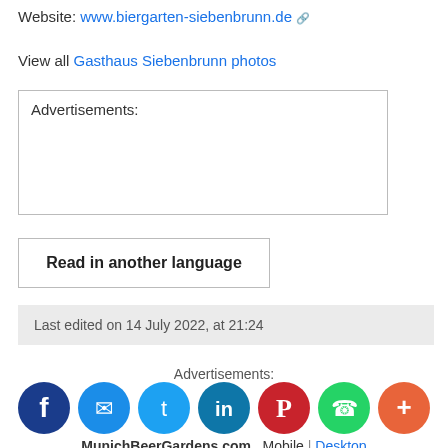Website: www.biergarten-siebenbrunn.de
View all Gasthaus Siebenbrunn photos
Advertisements:
Read in another language
Last edited on 14 July 2022, at 21:24
Advertisements:
[Figure (infographic): Social sharing icons: Facebook, Messenger, Twitter, LinkedIn, Pinterest, WhatsApp, More (+)]
MunichBeerGardens.com   Mobile | Desktop
Privacy